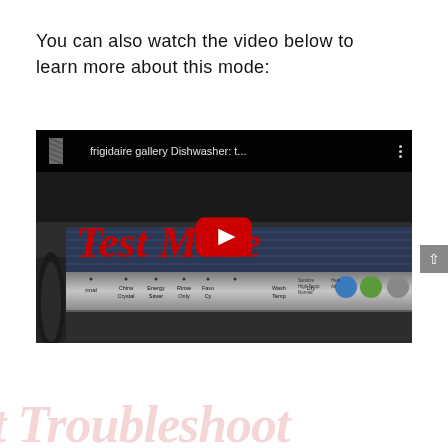You can also watch the video below to learn more about this mode:
[Figure (screenshot): YouTube video thumbnail showing a Frigidaire Gallery Dishwasher in Test Mode. The video title bar reads 'frigidaire gallery Dishwasher: t...' with a YouTube play button overlay. The thumbnail shows 'Test Mode' in red italic script over an image of a dishwasher control panel.]